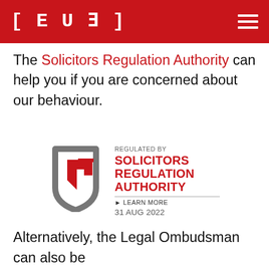[LEVE] (Level logo)
The Solicitors Regulation Authority can help you if you are concerned about our behaviour.
[Figure (logo): Solicitors Regulation Authority badge with shield icon. Text: REGULATED BY SOLICITORS REGULATION AUTHORITY ▶ LEARN MORE 31 AUG 2022]
Alternatively, the Legal Ombudsman can also be